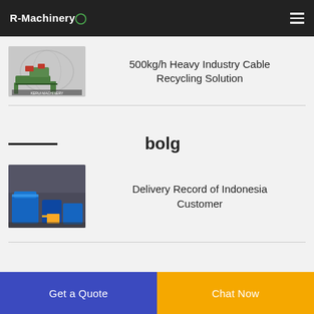R-Machinery
[Figure (photo): Machinery product thumbnail – cable recycling machine render]
500kg/h Heavy Industry Cable Recycling Solution
bolg
[Figure (photo): Blue machinery equipment in warehouse – delivery record photo]
Delivery Record of Indonesia Customer
Get a Quote
Chat Now